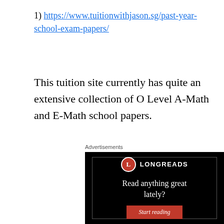1) https://www.tuitionwithjason.sg/past-year-school-exam-papers/
This tuition site currently has quite an extensive collection of O Level A-Math and E-Math school papers.
Advertisements
[Figure (screenshot): Longreads advertisement banner with black background, Longreads logo (red circle with 'L'), tagline 'Read anything great lately?' and a red 'Start reading' button.]